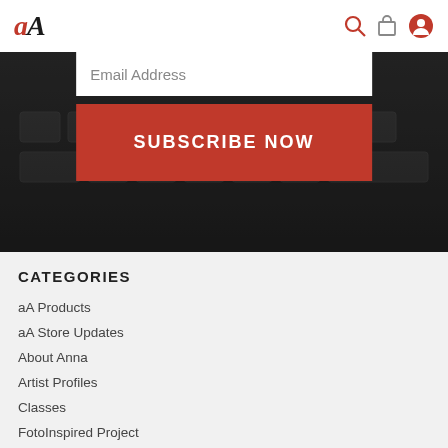aA
[Figure (screenshot): Website hero section with Email Address input field and red SUBSCRIBE NOW button on dark background]
CATEGORIES
aA Products
aA Store Updates
About Anna
Artist Profiles
Classes
FotoInspired Project
Giving Back